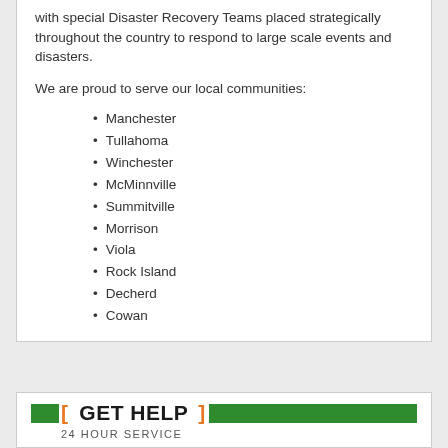with special Disaster Recovery Teams placed strategically throughout the country to respond to large scale events and disasters.
We are proud to serve our local communities:
Manchester
Tullahoma
Winchester
McMinnville
Summitville
Morrison
Viola
Rock Island
Decherd
Cowan
[ GET HELP ] 24 HOUR SERVICE
(931) 723-8088 CALL NOW